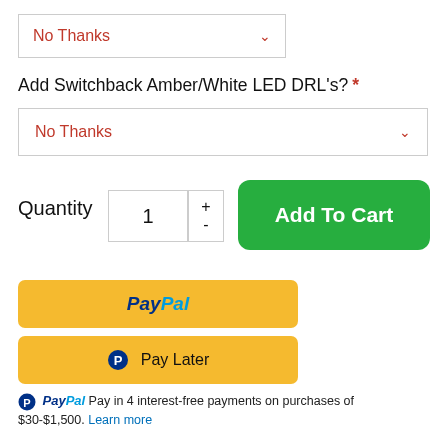[Figure (screenshot): Dropdown selector showing 'No Thanks' with red chevron]
Add Switchback Amber/White LED DRL's? *
[Figure (screenshot): Dropdown selector showing 'No Thanks' with red chevron]
Quantity  1  +  -  Add To Cart
[Figure (screenshot): PayPal yellow button]
[Figure (screenshot): Pay Later yellow button]
PayPal Pay in 4 interest-free payments on purchases of $30-$1,500. Learn more